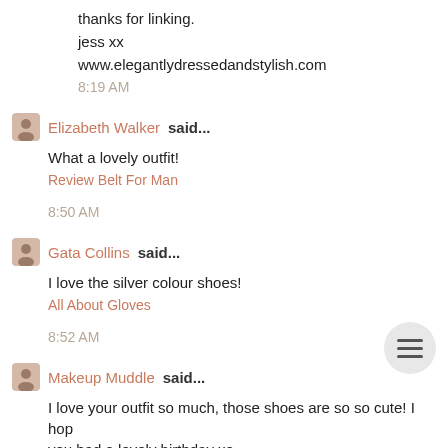thanks for linking.
jess xx
www.elegantlydressedandstylish.com
8:19 AM
Elizabeth Walker said...
What a lovely outfit!
Review Belt For Man
8:50 AM
Gata Collins said...
I love the silver colour shoes!
All About Gloves
8:52 AM
Makeup Muddle said...
I love your outfit so much, those shoes are so so cute! I hop you had a lovely birthday xo
Makeup Muddle